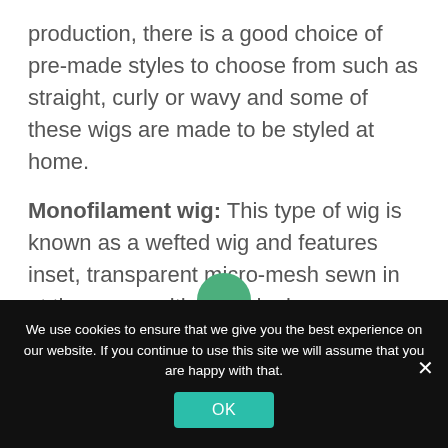production, there is a good choice of pre-made styles to choose from such as straight, curly or wavy and some of these wigs are made to be styled at home.
Monofilament wig: This type of wig is known as a wefted wig and features inset, transparent micro-mesh sewn in at the crown with individual
We use cookies to ensure that we give you the best experience on our website. If you continue to use this site we will assume that you are happy with that.